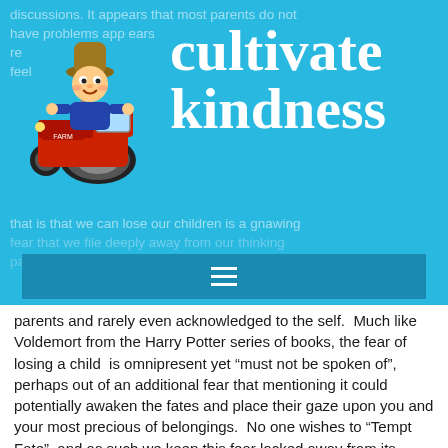[Figure (logo): Cultivate Kindness website header with cartoon farmer boy on red tractor logo and site title text]
parents and rarely even acknowledged to the self.  Much like Voldemort from the Harry Potter series of books, the fear of losing a child  is omnipresent yet “must not be spoken of”, perhaps out of an additional fear that mentioning it could potentially awaken the fates and place their gaze upon you and your most precious of belongings.  No one wishes to “Tempt Fate”, and as such we keep this fear locked away from its prying eye.  Thankfully, for most us, we never have to face that fear head on.  Statistically speaking, most of us in the modern world will never